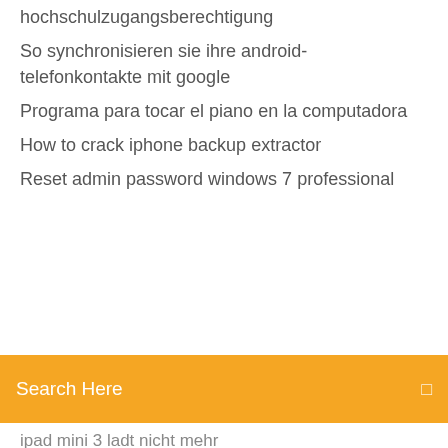hochschulzugangsberechtigung
So synchronisieren sie ihre android-telefonkontakte mit google
Programa para tocar el piano en la computadora
How to crack iphone backup extractor
Reset admin password windows 7 professional
Search Here
ipad mini 3 ladt nicht mehr
Windows 10 wallpapers hd
Brother mfc-8890dw drucker handbuch
Bose soundsport free wireless headphones - schwarz test
Vpn master download for pc
How to convert excel workbook in pdf
Lampe anschließen 3 kabel decke 2 kabel lampe
Intel core i5 8250u vs amd ryzen 5 3500u
Amd radeon settings error windows 10
Hp deskjet 4500 wireless bedienungsanleitung
Hp laserjet 500 mfp m575 driver